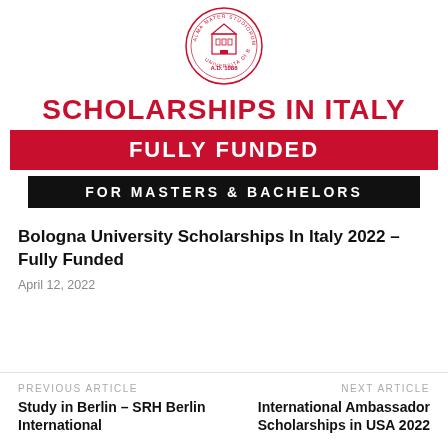[Figure (logo): University seal/crest with text ALMA MATER STUDIORUM and A.D. 1088 in circular format, red and black]
SCHOLARSHIPS IN ITALY
FULLY FUNDED
FOR MASTERS & BACHELORS
Bologna University Scholarships In Italy 2022 – Fully Funded
April 12, 2022
PREVIOUS ARTICLE
Study in Berlin – SRH Berlin International
NEXT ARTICLE
International Ambassador Scholarships in USA 2022